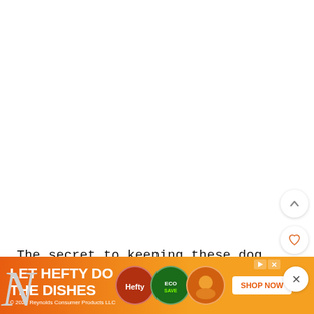[Figure (screenshot): White blank area representing top of a webpage/app with scroll and interaction buttons (up arrow, heart, search/orange) on the right side]
The secret to keeping these dog treats easy...baby food! Carrot for the "carrot" and peas for the "greens".
[Figure (screenshot): Advertisement banner: LET HEFTY DO THE DISHES with product images and SHOP NOW button. Orange/gradient background. © 2022 Reynolds Consumer Products LLC]